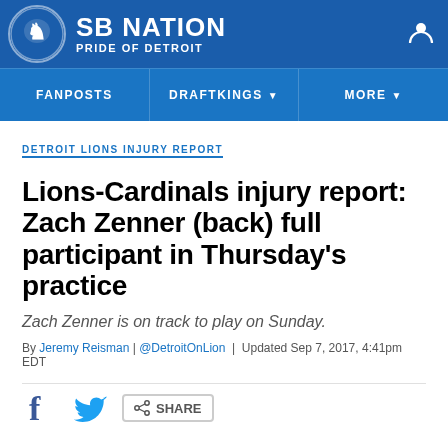SB NATION — PRIDE OF DETROIT
DETROIT LIONS INJURY REPORT
Lions-Cardinals injury report: Zach Zenner (back) full participant in Thursday's practice
Zach Zenner is on track to play on Sunday.
By Jeremy Reisman | @DetroitOnLion | Updated Sep 7, 2017, 4:41pm EDT